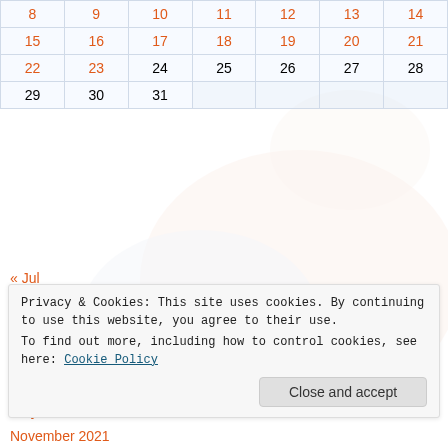| 8 | 9 | 10 | 11 | 12 | 13 | 14 |
| 15 | 16 | 17 | 18 | 19 | 20 | 21 |
| 22 | 23 | 24 | 25 | 26 | 27 | 28 |
| 29 | 30 | 31 |  |  |  |  |
« Jul
ARCHIVES
August 2022
July 2022
June 2022
May 2022
Privacy & Cookies: This site uses cookies. By continuing to use this website, you agree to their use. To find out more, including how to control cookies, see here: Cookie Policy
Close and accept
November 2021